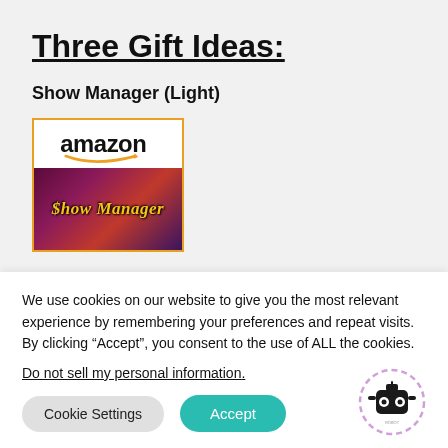Three Gift Ideas:
Show Manager (Light)
[Figure (screenshot): Amazon product card with Amazon logo at top and Show Manager game cover image below, bordered in orange]
We use cookies on our website to give you the most relevant experience by remembering your preferences and repeat visits. By clicking “Accept”, you consent to the use of ALL the cookies.
Do not sell my personal information.
Cookie Settings   Accept